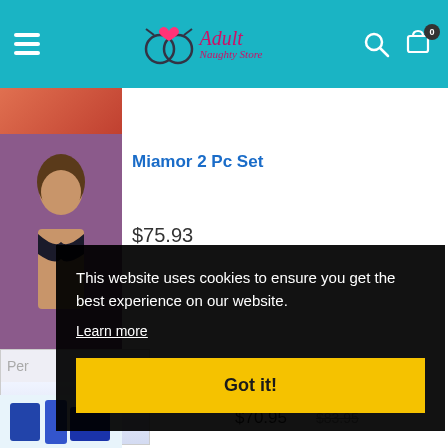[Figure (logo): Adult Naughty Store logo with teal header background, hamburger menu, search icon and cart with 0 items]
[Figure (photo): Product image partially visible at top, red/orange background]
Miamor 2 Pc Set
$75.93
[Figure (photo): Woman in black lingerie on purple background]
[Figure (photo): Partial product image with label 'Per']
This website uses cookies to ensure you get the best experience on our website.
Learn more
Got it!
$70.95
$83.95